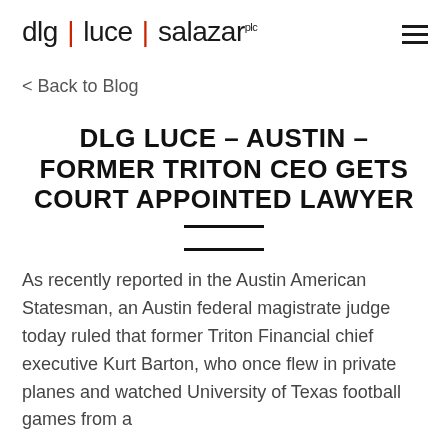dlg | luce | salazar plc
< Back to Blog
DLG LUCE – AUSTIN – FORMER TRITON CEO GETS COURT APPOINTED LAWYER
As recently reported in the Austin American Statesman, an Austin federal magistrate judge today ruled that former Triton Financial chief executive Kurt Barton, who once flew in private planes and watched University of Texas football games from a